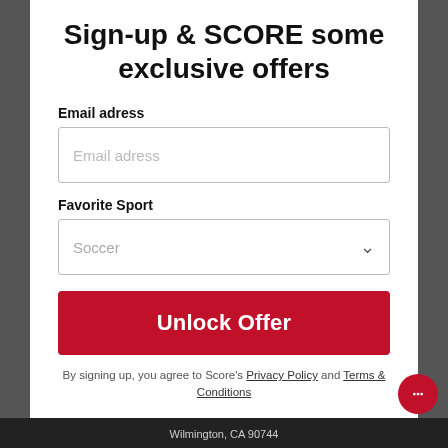Sign-up & SCORE some exclusive offers
Email adress
Email adress (input placeholder)
Favorite Sport
Soccer (dropdown placeholder)
Unlock Offer
By signing up, you agree to Score's Privacy Policy and Terms & Conditions
No, thanks
Wilmington, CA 90744